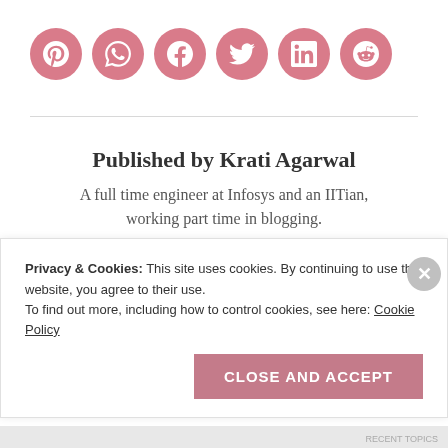[Figure (illustration): Row of six pink circular social media icon buttons: Pinterest, WhatsApp, Facebook, Twitter, LinkedIn, Reddit]
Published by Krati Agarwal
A full time engineer at Infosys and an IITian, working part time in blogging.
Privacy & Cookies: This site uses cookies. By continuing to use this website, you agree to their use.
To find out more, including how to control cookies, see here: Cookie Policy
CLOSE AND ACCEPT